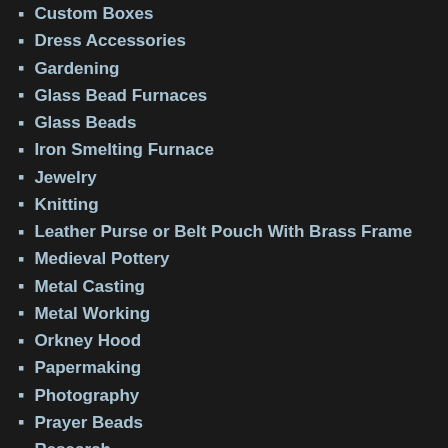Custom Boxes
Dress Accessories
Gardening
Glass Bead Furnaces
Glass Beads
Iron Smelting Furnace
Jewelry
Knitting
Leather Purse or Belt Pouch With Brass Frame
Medieval Pottery
Metal Casting
Metal Working
Orkney Hood
Papermaking
Photography
Prayer Beads
Research
SCA Life
Silk Banners
Tablet Weaving
The Production of a Medieval Feast